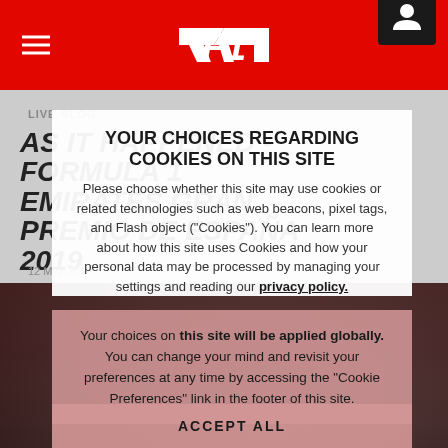F1 website header with hamburger menu, F1 logo, and user icon
LIVE BLOG
AS IT HAPPENED - Formula 1 Emirates Gran Premio de España 2019
12 May 2019
YOUR CHOICES REGARDING COOKIES ON THIS SITE
Please choose whether this site may use cookies or related technologies such as web beacons, pixel tags, and Flash object ("Cookies"). You can learn more about how this site uses Cookies and how your personal data may be processed by managing your settings and reading our privacy policy.
Your choices on this site will be applied globally. You can change your mind and revisit your preferences at any time by accessing the "Cookie Preferences" link in the footer of this site.
ACCEPT ALL